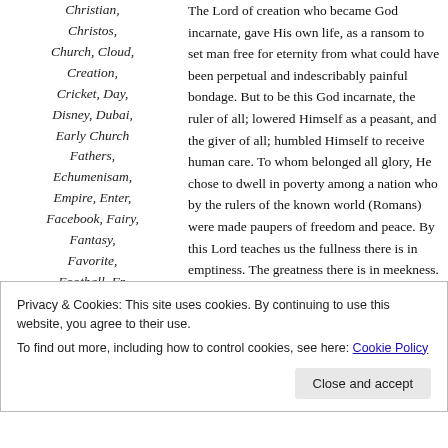Christian, Christos, Church, Cloud, Creation, Cricket, Day, Disney, Dubai, Early Church Fathers, Echumenisam, Empire, Enter, Facebook, Fairy, Fantasy, Favorite, Football, Fr. Robert Barron,
The Lord of creation who became God incarnate, gave His own life, as a ransom to set man free for eternity from what could have been perpetual and indescribably painful bondage. But to be this God incarnate, the ruler of all; lowered Himself as a peasant, and the giver of all; humbled Himself to receive human care. To whom belonged all glory, He chose to dwell in poverty among a nation who by the rulers of the known world (Romans) were made paupers of freedom and peace. By this Lord teaches us the fullness there is in emptiness. The greatness there is in meekness. The sovereignty there is in servitude.
Privacy & Cookies: This site uses cookies. By continuing to use this website, you agree to their use. To find out more, including how to control cookies, see here: Cookie Policy